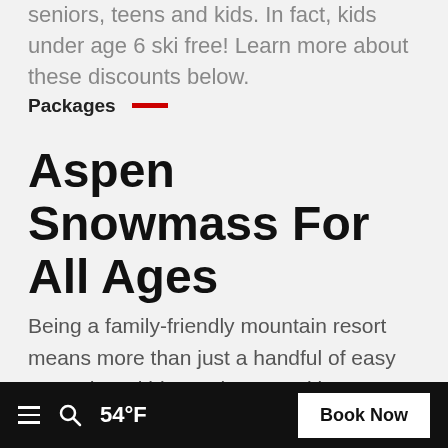seniors, teens and kids. In fact, kids under age 6 ski free! Learn more about these discounts below.
Packages
Aspen Snowmass For All Ages
Being a family-friendly mountain resort means more than just a handful of easy runs where kids can learn to ski. It means a mountain resort that has everyone's interests in heart (including hard-to-please teens).
≡  🔍  54°F   Book Now